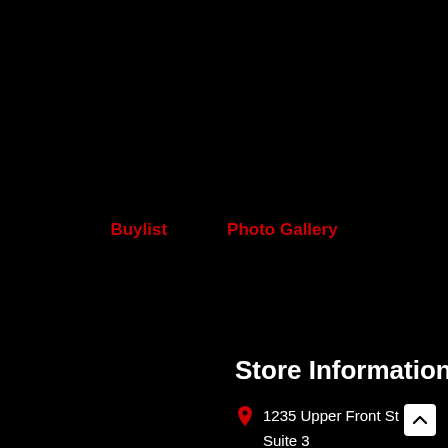Buylist
Photo Gallery
Store Information
1235 Upper Front St
Suite 3
Binghamton, NY 13905
(607) 235-3112
dragonmasterstore@yahoo.com
Monday - Closed
Tuesday - 12pm - 9pm
Wednesday - 12pm - 9pm
Thursday - 12pm - 9pm
Friday - 12pm - 12am
Saturday - 12pm - 7pm